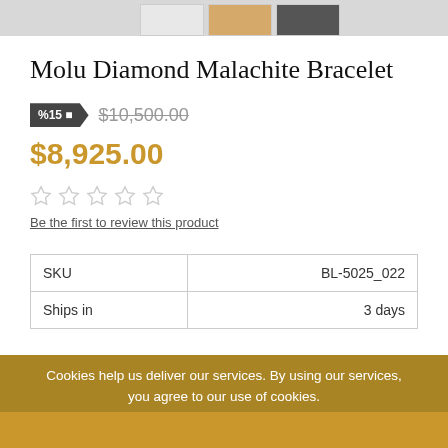[Figure (photo): Thumbnail images of a bracelet product at the top of the page]
Molu Diamond Malachite Bracelet
%15  $10,500.00 (strikethrough)
$8,925.00
Be the first to review this product
| SKU | BL-5025_022 |
| Ships in | 3 days |
| Availability | In Stock |
Cookies help us deliver our services. By using our services, you agree to our use of cookies.
OK   LEARN MORE